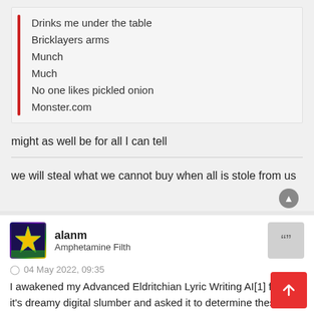Drinks me under the table
Bricklayers arms
Munch
Much
No one likes pickled onion
Monster.com
might as well be for all I can tell
we will steal what we cannot buy when all is stole from us
alanm
Amphetamine Filth
04 May 2022, 09:35
I awakened my Advanced Eldritchian Lyric Writing AI[1] from it's dreamy digital slumber and asked it to determine these